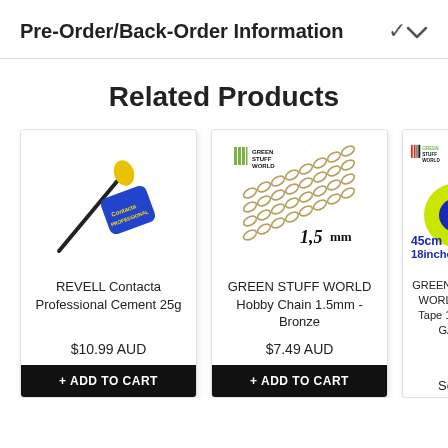Pre-Order/Back-Order Information
Related Products
[Figure (photo): REVELL Contacta Professional Cement 25g product photo — blue glue applicator with yellow tip]
REVELL Contacta Professional Cement 25g
$10.99 AUD
+ ADD TO CART
[Figure (photo): GREEN STUFF WORLD Hobby Chain 1.5mm - Bronze product photo — metallic chain links with 1.5mm label]
GREEN STUFF WORLD Hobby Chain 1.5mm - Bronze
$7.49 AUD
+ ADD TO CART
[Figure (photo): GREEN STUFF WORLD Green Tape 18 inches product photo — partially visible, shows yellow-green tape roll]
GREEN STUFF WORLD Gr... Tape 18 inc... GA...
Sold